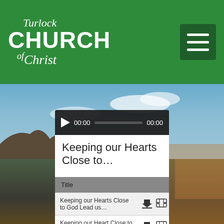[Figure (screenshot): Turlock Church of Christ website header with green background and hamburger menu icon]
[Figure (screenshot): Audio player bar with play button, 00:00 time displays and progress bar on dark background]
Keeping our Hearts Close to...
| Title |  |  |
| --- | --- | --- |
| Keeping our Hearts Close to God Lead us... | ↓ | ⊞ |
| Keeping our Heart Close to God- Thy Will ... | ↓ | ⊞ |
| Steve Prine- Teaching the Gospel | ↓ |  |